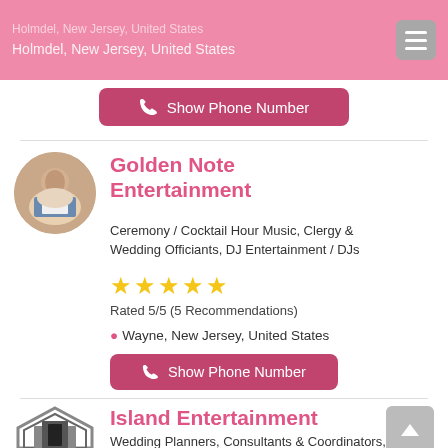Holmdel, New Jersey, United States
[Figure (other): Show Phone Number button for previous listing]
[Figure (photo): Golden Note Entertainment circular logo with wedding couple]
Golden Note Entertainment
Ceremony / Cocktail Hour Music, Clergy & Wedding Officiants, DJ Entertainment / DJs
[Figure (other): 5 yellow star rating icons]
Rated 5/5 (5 Recommendations)
Wayne, New Jersey, United States
[Figure (other): Show Phone Number button for Golden Note Entertainment]
[Figure (logo): Island Entertainment hexagonal logo]
Island Entertainment
Wedding Planners, Consultants & Coordinators,